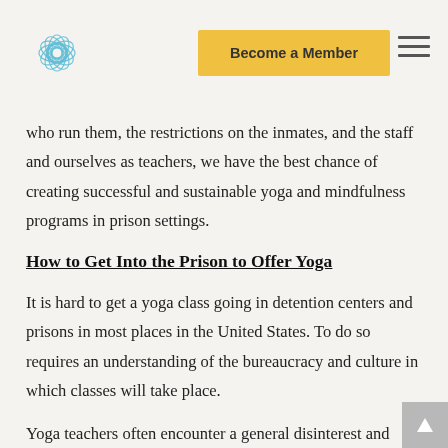Become a Member
who run them, the restrictions on the inmates, and the staff and ourselves as teachers, we have the best chance of creating successful and sustainable yoga and mindfulness programs in prison settings.
How to Get Into the Prison to Offer Yoga
It is hard to get a yoga class going in detention centers and prisons in most places in the United States. To do so requires an understanding of the bureaucracy and culture in which classes will take place.
Yoga teachers often encounter a general disinterest and suspicion on the part of government administrators about bringing yoga into detention centers and prisons. Sometimes this is rooted in lack of knowledge, lack of interest,